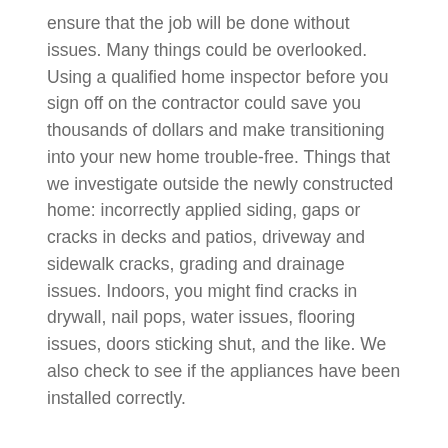ensure that the job will be done without issues. Many things could be overlooked. Using a qualified home inspector before you sign off on the contractor could save you thousands of dollars and make transitioning into your new home trouble-free. Things that we investigate outside the newly constructed home: incorrectly applied siding, gaps or cracks in decks and patios, driveway and sidewalk cracks, grading and drainage issues. Indoors, you might find cracks in drywall, nail pops, water issues, flooring issues, doors sticking shut, and the like. We also check to see if the appliances have been installed correctly.